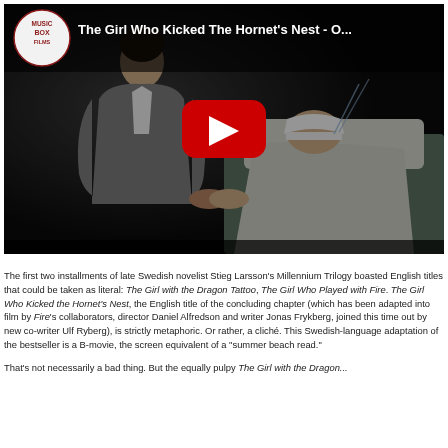[Figure (screenshot): YouTube video thumbnail for 'The Girl Who Kicked The Hornet's Nest - O...' by Music Box Films. Shows two figures in a dark scene — a man standing/leaning left, a woman lying down right — with a red YouTube play button in the center.]
The first two installments of late Swedish novelist Stieg Larsson's Millennium Trilogy boasted English titles that could be taken as literal: The Girl with the Dragon Tattoo, The Girl Who Played with Fire. The Girl Who Kicked the Hornet's Nest, the English title of the concluding chapter (which has been adapted into film by Fire's collaborators, director Daniel Alfredson and writer Jonas Frykberg, joined this time out by new co-writer Ulf Ryberg), is strictly metaphoric. Or rather, a cliché. This Swedish-language adaptation of the bestseller is a B-movie, the screen equivalent of a "summer beach read."
That's not necessarily a bad thing. But the equally pulpy The Girl with the Dragon...